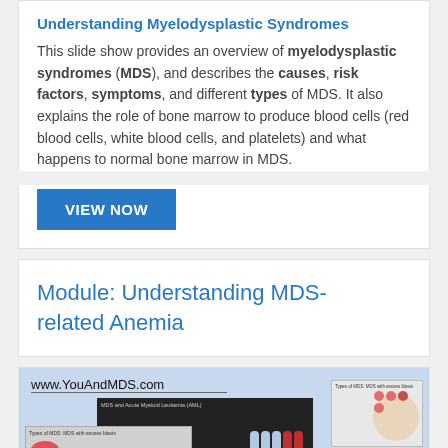Understanding Myelodysplastic Syndromes
This slide show provides an overview of myelodysplastic syndromes (MDS), and describes the causes, risk factors, symptoms, and different types of MDS. It also explains the role of bone marrow to produce blood cells (red blood cells, white blood cells, and platelets) and what happens to normal bone marrow in MDS.
VIEW NOW
Module: Understanding MDS-related Anemia
[Figure (screenshot): Screenshot of www.YouAndMDS.com showing slide thumbnails about MDS and Acute Myeloid Leukemia with 30% statistic and people icons, bone marrow illustration, and Types of MDS slides.]